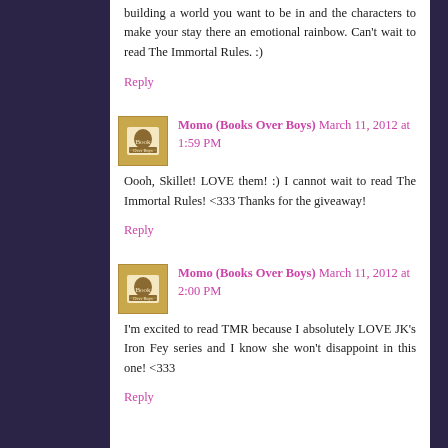building a world you want to be in and the characters to make your stay there an emotional rainbow. Can't wait to read The Immortal Rules. :)
Reply
Momo (Books Over Boys) March 11, 2012 at 1:59 PM
Oooh, Skillet! LOVE them! :) I cannot wait to read The Immortal Rules! <333 Thanks for the giveaway!
Reply
Momo (Books Over Boys) March 11, 2012 at 2:00 PM
I'm excited to read TMR because I absolutely LOVE JK's Iron Fey series and I know she won't disappoint in this one! <333
Reply